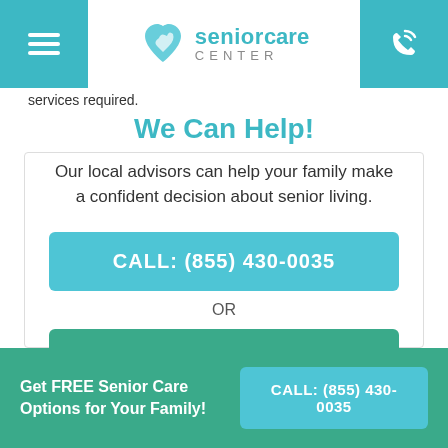[Figure (logo): Senior Care Center logo with teal heart icon and text]
services required.
We Can Help!
Our local advisors can help your family make a confident decision about senior living.
CALL: (855) 430-0035
OR
GET ASSISTANCE
Get FREE Senior Care Options for Your Family! CALL: (855) 430-0035